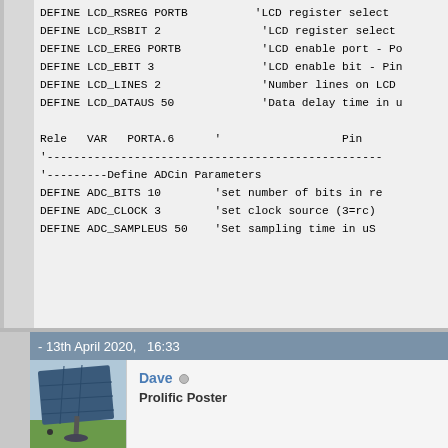DEFINE LCD_RSREG PORTB
    DEFINE LCD_RSBIT 2
    DEFINE LCD_EREG PORTB
    DEFINE LCD_EBIT 3
    DEFINE LCD_LINES 2
    DEFINE LCD_DATAUS 50

    Rele  VAR  PORTA.6  '
    '--------------------------------------------------
    '---------Define ADCin Parameters
    DEFINE ADC_BITS 10      'set number of bits in re
    DEFINE ADC_CLOCK 3      'set clock source (3=rc)
    DEFINE ADC_SAMPLEUS 50  'Set sampling time in uS
- 13th April 2020,   16:33
[Figure (photo): Solar panel array mounted on a pole in a grassy field]
Dave ○
Prolific Poster